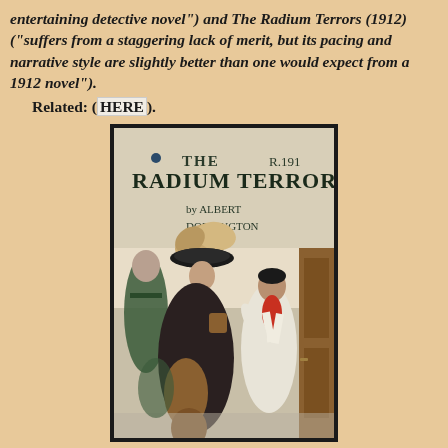entertaining detective novel") and The Radium Terrors (1912) ("suffers from a staggering lack of merit, but its pacing and narrative style are slightly better than one would expect from a 1912 novel").
Related: (HERE).
[Figure (photo): Book cover of 'The Radium Terrors' by Albert Dorrington (1912). Shows a woman in an elaborate hat with feathers and dark coat, a man in a white suit with a red cravat, and other figures in the background. Title text and author name appear at the top of the cover.]